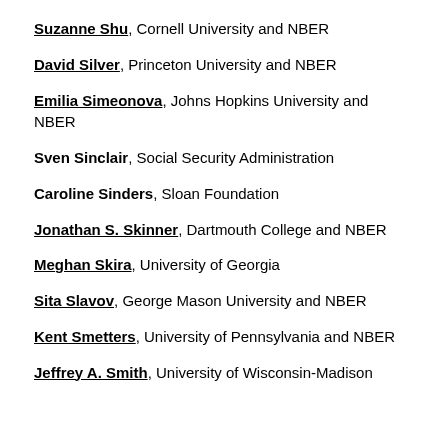Suzanne Shu, Cornell University and NBER
David Silver, Princeton University and NBER
Emilia Simeonova, Johns Hopkins University and NBER
Sven Sinclair, Social Security Administration
Caroline Sinders, Sloan Foundation
Jonathan S. Skinner, Dartmouth College and NBER
Meghan Skira, University of Georgia
Sita Slavov, George Mason University and NBER
Kent Smetters, University of Pennsylvania and NBER
Jeffrey A. Smith, University of Wisconsin-Madison